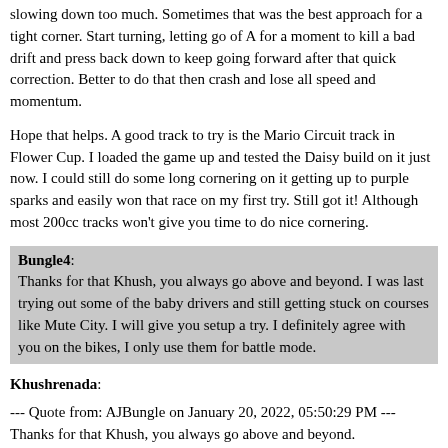slowing down too much. Sometimes that was the best approach for a tight corner. Start turning, letting go of A for a moment to kill a bad drift and press back down to keep going forward after that quick correction. Better to do that then crash and lose all speed and momentum.
Hope that helps. A good track to try is the Mario Circuit track in Flower Cup. I loaded the game up and tested the Daisy build on it just now. I could still do some long cornering on it getting up to purple sparks and easily won that race on my first try. Still got it! Although most 200cc tracks won't give you time to do nice cornering.
Bungle4: Thanks for that Khush, you always go above and beyond. I was last trying out some of the baby drivers and still getting stuck on courses like Mute City. I will give you setup a try. I definitely agree with you on the bikes, I only use them for battle mode.
Khushrenada:
--- Quote from: AJBungle on January 20, 2022, 05:50:29 PM ---
Thanks for that Khush, you always go above and beyond.
--- End quote ---